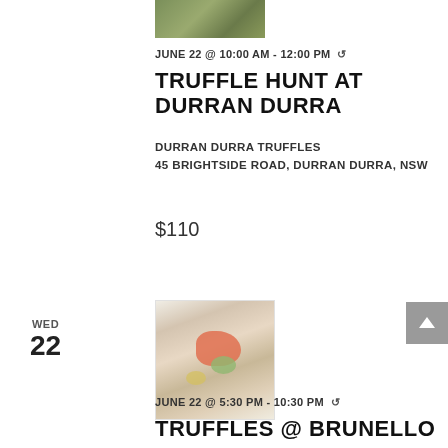[Figure (photo): Partial outdoor/nature photo cropped at top of page]
JUNE 22 @ 10:00 AM - 12:00 PM ↺
TRUFFLE HUNT AT DURRAN DURRA
DURRAN DURRA TRUFFLES
45 BRIGHTSIDE ROAD, DURRAN DURRA, NSW
$110
WED
22
[Figure (photo): Plate of food with salmon/fish and garnishes on white background]
JUNE 22 @ 5:30 PM - 10:30 PM ↺
TRUFFLES @ BRUNELLO